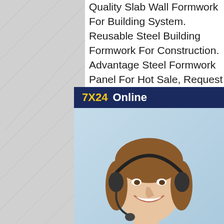Quality Slab Wall Formwork For Building System. Reusable Steel Building Formwork For Construction. Advantage Steel Formwork Panel For Hot Sale, Request A Quote. Carbon steel flat with high quality and low price Q2 carbon steel slabs with high quality steel can also be used to weld rigs and billets and slabs of laminated (material Q215, Q235), the implementation standard GB704 instead of GB704 - 83, this standard applies to the thickness of 3~60mm of 10~200mm, cross section of rectangular hot rolled flat steel High Quality, Reliable, Performing steel slab - Aug 05, 2021 High Quality, Reliable, Performing steel slab - Steel Slab Slab Plate JIS S45C 45# Hot Rolled Carbon Steel Sheet Plate Slab Plate Steel Slab
[Figure (photo): Customer service chat widget with '7X24 Online' header in yellow and white text on dark blue background, photo of a smiling woman wearing a headset, and a 'Hello, may I help you?' message with a 'Get Latest Price' yellow button.]